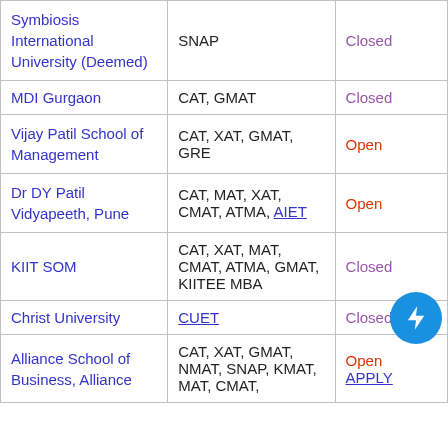| Institution | Exam Accepted | Status |
| --- | --- | --- |
| Symbiosis International University (Deemed) | SNAP | Closed |
| MDI Gurgaon | CAT, GMAT | Closed |
| Vijay Patil School of Management | CAT, XAT, GMAT, GRE | Open |
| Dr DY Patil Vidyapeeth, Pune | CAT, MAT, XAT, CMAT, ATMA, AIET | Open |
| KIIT SOM | CAT, XAT, MAT, CMAT, ATMA, GMAT, KIITEE MBA | Closed |
| Christ University | CUET | Closed |
| Alliance School of Business, Alliance | CAT, XAT, GMAT, NMAT, SNAP, KMAT, MAT, CMAT, | Open APPLY |